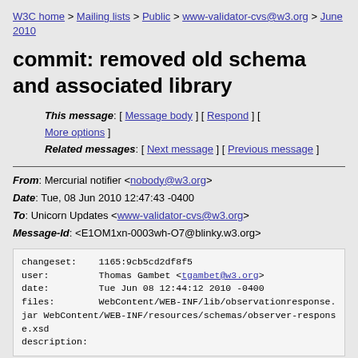W3C home > Mailing lists > Public > www-validator-cvs@w3.org > June 2010
commit: removed old schema and associated library
This message: [ Message body ] [ Respond ] [ More options ]
Related messages: [ Next message ] [ Previous message ]
From: Mercurial notifier <nobody@w3.org>
Date: Tue, 08 Jun 2010 12:47:43 -0400
To: Unicorn Updates <www-validator-cvs@w3.org>
Message-Id: <E1OM1xn-0003wh-O7@blinky.w3.org>
changeset:    1165:9cb5cd2df8f5
user:         Thomas Gambet <tgambet@w3.org>
date:         Tue Jun 08 12:44:12 2010 -0400
files:        WebContent/WEB-INF/lib/observationresponse.jar WebContent/WEB-INF/resources/schemas/observer-response.xsd
description: